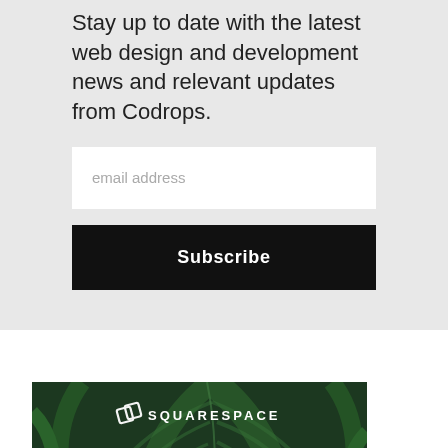Stay up to date with the latest web design and development news and relevant updates from Codrops.
[Figure (other): Email address input field (white rectangle with placeholder text 'email address')]
[Figure (other): Subscribe button (black rectangle with white bold text 'Subscribe')]
[Figure (infographic): Squarespace advertisement banner with green leaf background. Shows Squarespace logo and text: 'Simple design and selling tools to help make your dream']